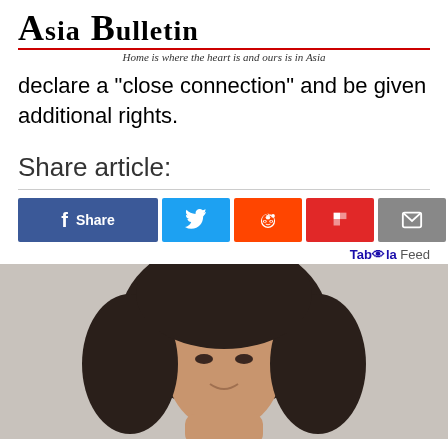Asia Bulletin — Home is where the heart is and ours is in Asia
declare a "close connection" and be given additional rights.
Share article:
[Figure (screenshot): Social share buttons: Facebook Share, Twitter, Reddit, Flipboard, Email]
Taboola Feed
[Figure (photo): Portrait photo of a woman with curly hair, smiling, light gray background]